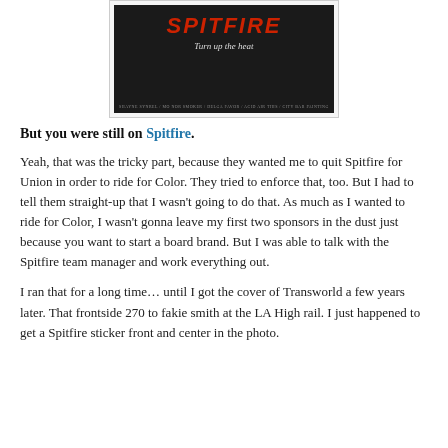[Figure (photo): Dark album or promotional cover for Spitfire with red text reading 'SPITFIRE' and white handwritten text 'Turn up the heat' on a dark background with small credits at the bottom.]
But you were still on Spitfire.
Yeah, that was the tricky part, because they wanted me to quit Spitfire for Union in order to ride for Color. They tried to enforce that, too. But I had to tell them straight-up that I wasn't going to do that. As much as I wanted to ride for Color, I wasn't gonna leave my first two sponsors in the dust just because you want to start a board brand. But I was able to talk with the Spitfire team manager and work everything out.
I ran that for a long time… until I got the cover of Transworld a few years later. That frontside 270 to fakie smith at the LA High rail. I just happened to get a Spitfire sticker front and center in the photo.